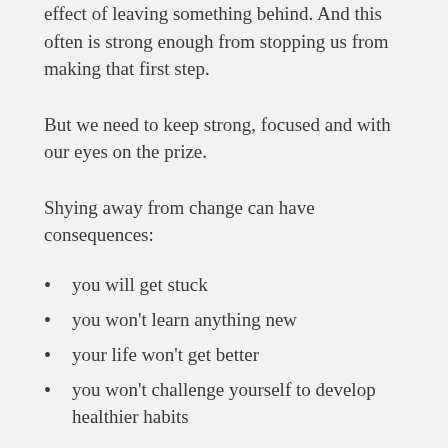effect of leaving something behind. And this often is strong enough from stopping us from making that first step.
But we need to keep strong, focused and with our eyes on the prize.
Shying away from change can have consequences:
you will get stuck
you won't learn anything new
your life won't get better
you won't challenge yourself to develop healthier habits